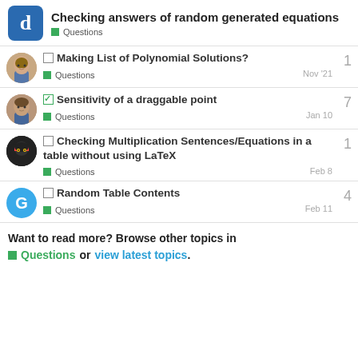Checking answers of random generated equations
Questions
Making List of Polynomial Solutions? — Questions — Nov '21 — 1
Sensitivity of a draggable point — Questions — Jan 10 — 7
Checking Multiplication Sentences/Equations in a table without using LaTeX — Questions — Feb 8 — 1
Random Table Contents — Questions — Feb 11 — 4
Want to read more? Browse other topics in Questions or view latest topics.